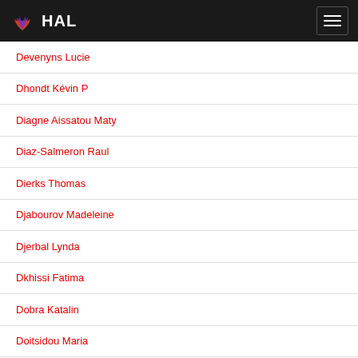HAL
Devenyns Lucie
Dhondt Kévin P
Diagne Aissatou Maty
Diaz-Salmeron Raul
Dierks Thomas
Djabourov Madeleine
Djerbal Lynda
Dkhissi Fatima
Dobra Katalin
Doitsidou Maria